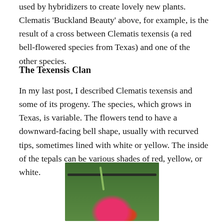used by hybridizers to create lovely new plants. Clematis 'Buckland Beauty' above, for example, is the result of a cross between Clematis texensis (a red bell-flowered species from Texas) and one of the other species.
The Texensis Clan
In my last post, I described Clematis texensis and some of its progeny. The species, which grows in Texas, is variable. The flowers tend to have a downward-facing bell shape, usually with recurved tips, sometimes lined with white or yellow. The inside of the tepals can be various shades of red, yellow, or white.
[Figure (photo): A photograph of a Clematis flower with bright pink/red petals, photographed against a green foliage background with a dark horizontal bar (fence or railing) visible near the top.]